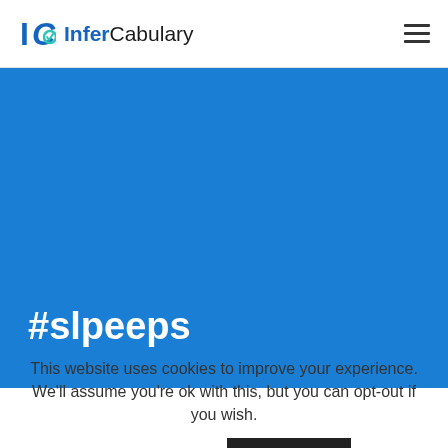InferCabulary
#slpeeps
This website uses cookies to improve your experience. We'll assume you're ok with this, but you can opt-out if you wish.
Cookie settings    ACCEPT